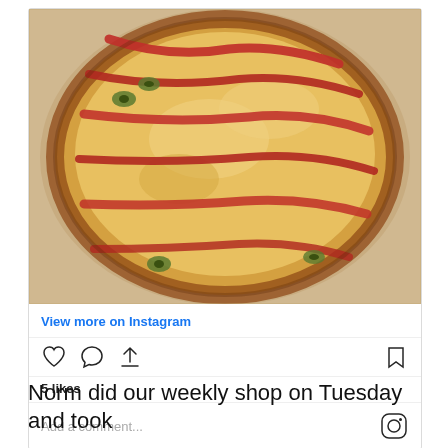[Figure (photo): Close-up photo of a pizza topped with bacon strips, green olives, and melted cheese on a baking surface, displayed as an Instagram post image]
View more on Instagram
5 likes
Add a comment...
Norm did our weekly shop on Tuesday and took